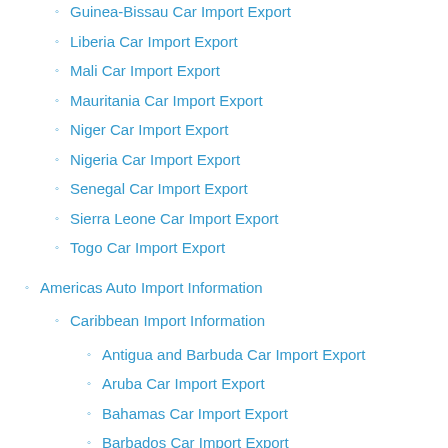Guinea-Bissau Car Import Export
Liberia Car Import Export
Mali Car Import Export
Mauritania Car Import Export
Niger Car Import Export
Nigeria Car Import Export
Senegal Car Import Export
Sierra Leone Car Import Export
Togo Car Import Export
Americas Auto Import Information
Caribbean Import Information
Antigua and Barbuda Car Import Export
Aruba Car Import Export
Bahamas Car Import Export
Barbados Car Import Export
Bonaire, Saint Eustatius and Saba Car Import